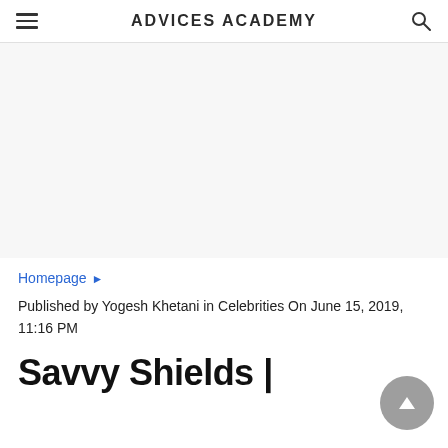ADVICES ACADEMY
[Figure (other): Advertisement/blank area placeholder]
Homepage ►
Published by Yogesh Khetani in Celebrities On June 15, 2019, 11:16 PM
Savvy Shields |